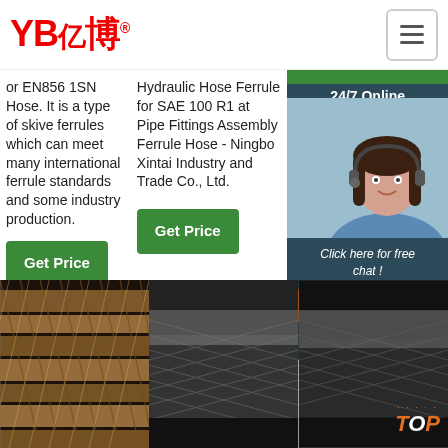[Figure (logo): YB 亿博 logo in red with registered trademark symbol]
or EN856 1SN Hose. It is a type of skive ferrules which can meet many international ferrule standards and some industry production.
Hydraulic Hose Ferrule for SAE 100 R1 at Pipe Fittings Assembly Ferrule Hose - Ningbo Xintai Industry and Trade Co., Ltd.
[Figure (infographic): 24/7 Online chat widget with agent photo, 'Click here for free chat!' text, and QUOTATION button]
Get Price
Get Price
[Figure (photo): Braided hydraulic hose - golden/tan colored braided texture]
[Figure (photo): Black hydraulic hose close-up]
[Figure (photo): Black hydraulic hose close-up with TOP badge overlay]